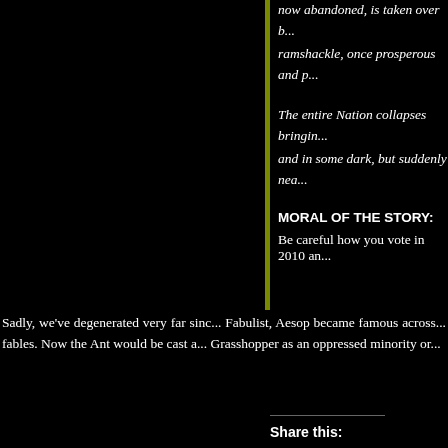now abandoned, is taken over b... ramshackle, once prosperous and p...
The entire Nation collapses bringin... and in some dark, but suddenly nea...
MORAL OF THE STORY:
Be careful how you vote in 2010 an...
Sadly, we've degenerated very far sinc... Fabulist, Aesop became famous across... fables. Now the Ant would be cast a... Grasshopper as an oppressed minority or...
Share this:
[Figure (infographic): Social sharing buttons: Facebook, Twitter, Reddit, Tumblr, Pinterest, Pocket, Email]
Like this:
[Figure (infographic): Like button widget with star icon]
Be the first to like this.